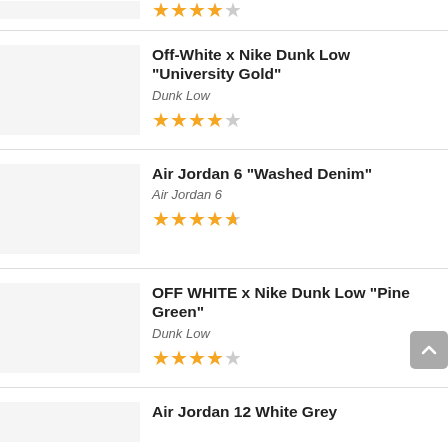Off-White x Nike Dunk Low “University Gold” | Dunk Low | 4 stars
Air Jordan 6 “Washed Denim” | Air Jordan 6 | 4.5 stars
OFF WHITE x Nike Dunk Low “Pine Green” | Dunk Low | 4 stars
Air Jordan 12 White Grey